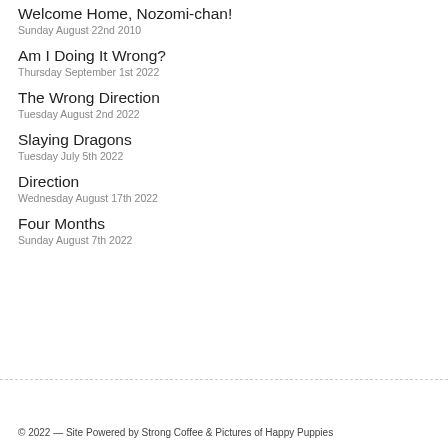Welcome Home, Nozomi-chan!
Sunday August 22nd 2010
Am I Doing It Wrong?
Thursday September 1st 2022
The Wrong Direction
Tuesday August 2nd 2022
Slaying Dragons
Tuesday July 5th 2022
Direction
Wednesday August 17th 2022
Four Months
Sunday August 7th 2022
© 2022 — Site Powered by Strong Coffee & Pictures of Happy Puppies